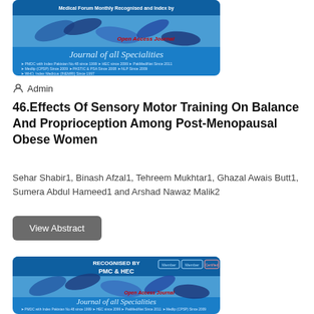[Figure (illustration): Journal of all Specialities blue banner with pill/capsule photo, Open Access Journal label, PMC & HEC recognition, indexed by PMDC, HEC, PakMediNet, Medlip, PASTIC & PSA, NLP, WHO]
Admin
46.Effects Of Sensory Motor Training On Balance And Proprioception Among Post-Menopausal Obese Women
Sehar Shabir1, Binash Afzal1, Tehreem Mukhtar1, Ghazal Awais Butt1, Sumera Abdul Hameed1 and Arshad Nawaz Malik2
View Abstract
[Figure (illustration): Journal of all Specialities blue banner - second instance, same design with pill/capsule photo, Open Access Journal label, RECOGNISED BY PMC & HEC, Member/Certified badges]